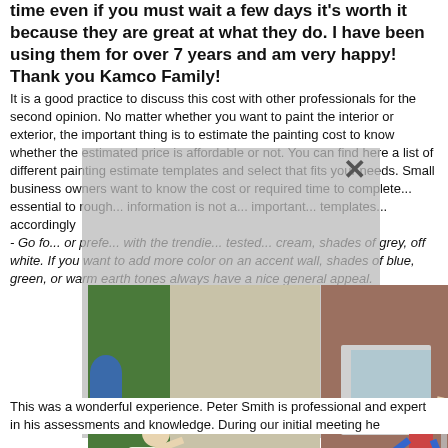time even if you must wait a few days it's worth it because they are great at what they do. I have been using them for over 7 years and am very happy! Thank you Kamco Family!
It is a good practice to discuss this cost with other professionals for the second opinion. No matter whether you want to paint the interior or exterior, the important thing is to estimate the painting cost to know whether the estimated price is affordable or not. You can find here a list of different painting estimate templates and select that fits your needs. Small business owners want to know the cost or required time to complete...essential to rough...information is not a...important...templates...accordingly - Go for...or preference...with the trendie...tested...cream, shades of grey, off white. If you want to add more color on an accent wall, shades of blue, green, or warm earth tones always have a nice general appeal.
[Figure (photo): Three photos of people falling off or hanging from ladders on the exterior of houses, arranged in a strip]
This was a wonderful experience. Peter Smith is professional and expert in his assessments and knowledge. During our initial meeting he...